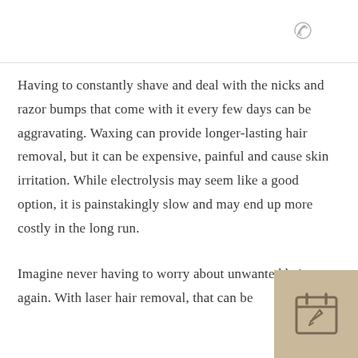Having to constantly shave and deal with the nicks and razor bumps that come with it every few days can be aggravating. Waxing can provide longer-lasting hair removal, but it can be expensive, painful and cause skin irritation. While electrolysis may seem like a good option, it is painstakingly slow and may end up more costly in the long run.
Imagine never having to worry about unwanted hair again. With laser hair removal, that can be